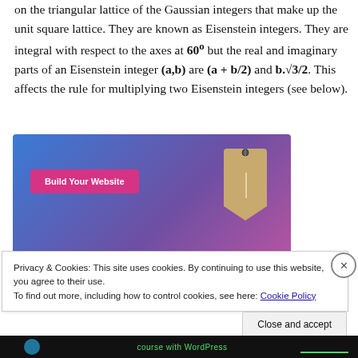on the triangular lattice of the Gaussian integers that make up the unit square lattice. They are known as Eisenstein integers. They are integral with respect to the axes at 60° but the real and imaginary parts of an Eisenstein integer (a,b) are (a + b/2) and b.√3/2. This affects the rule for multiplying two Eisenstein integers (see below).
[Figure (screenshot): Advertisement banner with blue-to-purple gradient background, a pink 'Build Your Website' button on the left, and a tan/brown price tag graphic on the right.]
Privacy & Cookies: This site uses cookies. By continuing to use this website, you agree to their use.
To find out more, including how to control cookies, see here: Cookie Policy
Close and accept